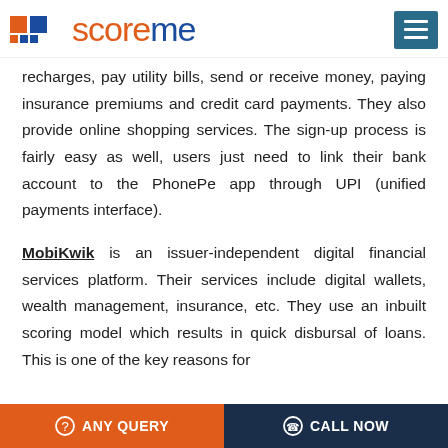scoreme
recharges, pay utility bills, send or receive money, paying insurance premiums and credit card payments. They also provide online shopping services. The sign-up process is fairly easy as well, users just need to link their bank account to the PhonePe app through UPI (unified payments interface).
MobiKwik is an issuer-independent digital financial services platform. Their services include digital wallets, wealth management, insurance, etc. They use an inbuilt scoring model which results in quick disbursal of loans. This is one of the key reasons for
ANY QUERY   CALL NOW